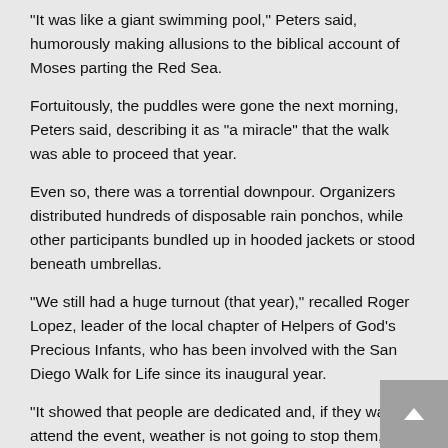“It was like a giant swimming pool,” Peters said, humorously making allusions to the biblical account of Moses parting the Red Sea.
Fortuitously, the puddles were gone the next morning, Peters said, describing it as “a miracle” that the walk was able to proceed that year.
Even so, there was a torrential downpour. Organizers distributed hundreds of disposable rain ponchos, while other participants bundled up in hooded jackets or stood beneath umbrellas.
“We still had a huge turnout (that year),” recalled Roger Lopez, leader of the local chapter of Helpers of God’s Precious Infants, who has been involved with the San Diego Walk for Life since its inaugural year.
“It showed that people are dedicated and, if they want to attend the event, weather is not going to stop them,” he